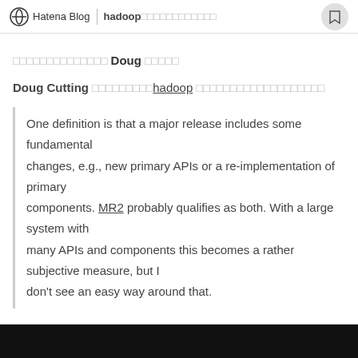Hatena Blog  hadoop（日本語タイトル）
（日本語テキスト） Doug （日本語テキスト）
Doug Cutting （日本語）hadoop （日本語テキスト）
One definition is that a major release includes some fundamental changes, e.g., new primary APIs or a re-implementation of primary components. MR2 probably qualifies as both. With a large system with many APIs and components this becomes a rather subjective measure, but I don't see an easy way around that.